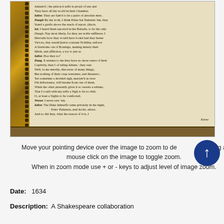[Figure (photo): Photograph of an open early-printed book (1634 Shakespeare collaboration) showing a page of dramatic dialogue with ornate binding visible on the left side.]
Move your pointing device over the image to zoom to detail using a mouse click on the image to toggle zoom. When in zoom mode use + or - keys to adjust level of image zoom.
Date: 1634
Description: A Shakespeare collaboration